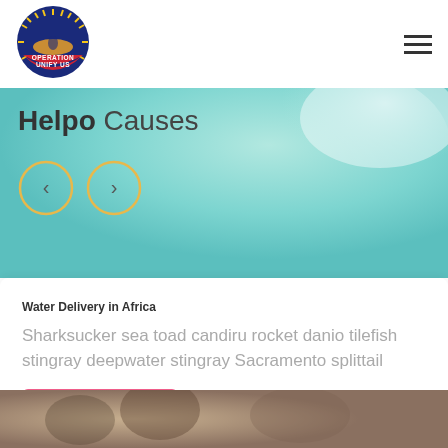[Figure (logo): Operation Unify Us circular logo with kangaroo and Australian motif]
[Figure (illustration): Hamburger menu icon (three horizontal lines)]
Helpo Causes
[Figure (illustration): Two circular navigation buttons with left and right chevrons, yellow/gold outline, on aqua watercolor background]
Water Delivery in Africa
Sharksucker sea toad candiru rocket danio tilefish stingray deepwater stingray Sacramento splittail
Water Delivery
[Figure (photo): Blurred photo of people, brownish/warm tones at bottom of card]